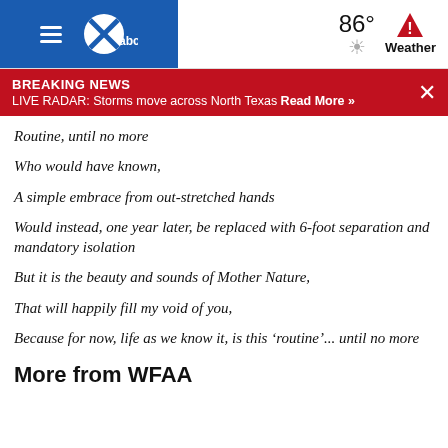WFAA abc — 86° Weather
BREAKING NEWS
LIVE RADAR: Storms move across North Texas Read More »
Routine, until no more
Who would have known,
A simple embrace from out-stretched hands
Would instead, one year later, be replaced with 6-foot separation and mandatory isolation
But it is the beauty and sounds of Mother Nature,
That will happily fill my void of you,
Because for now, life as we know it, is this ‘routine’... until no more
More from WFAA